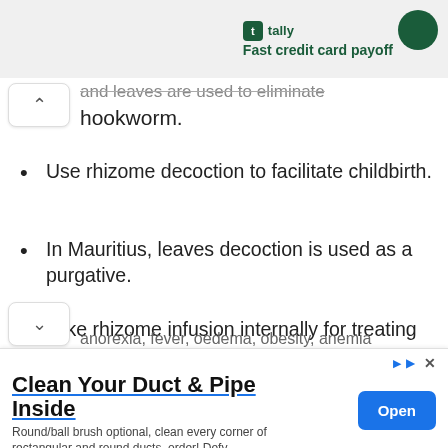tally Fast credit card payoff
and leaves are used to eliminate hookworm.
Use rhizome decoction to facilitate childbirth.
In Mauritius, leaves decoction is used as a purgative.
Take rhizome infusion internally for treating anorexia, fever, oedema, obesity, anemia
Clean Your Duct & Pipe Inside
Round/ball brush optional, clean every corner of rectangular and round ducts, order! Defy